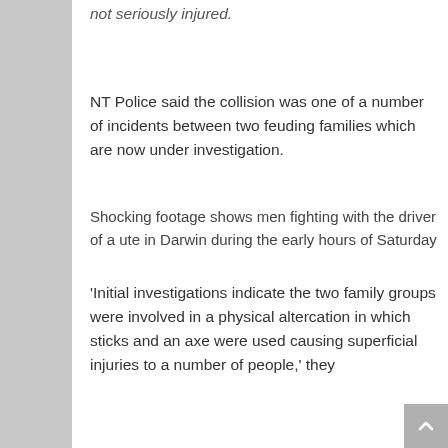not seriously injured.
NT Police said the collision was one of a number of incidents between two feuding families which are now under investigation.
Shocking footage shows men fighting with the driver of a ute in Darwin during the early hours of Saturday
'Initial investigations indicate the two family groups were involved in a physical altercation in which sticks and an axe were used causing superficial injuries to a number of people,' they said.